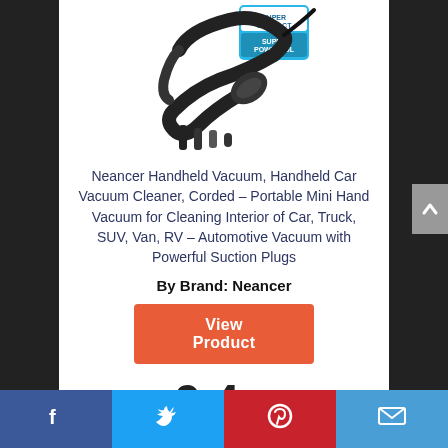[Figure (photo): Product photo of Neancer Handheld Vacuum cleaner with accessories and packaging showing 'Super Compact Super Powerful' text]
Neancer Handheld Vacuum, Handheld Car Vacuum Cleaner, Corded – Portable Mini Hand Vacuum for Cleaning Interior of Car, Truck, SUV, Van, RV – Automotive Vacuum with Powerful Suction Plugs
By Brand: Neancer
View Product
9.4
Score
Facebook | Twitter | Pinterest | Email